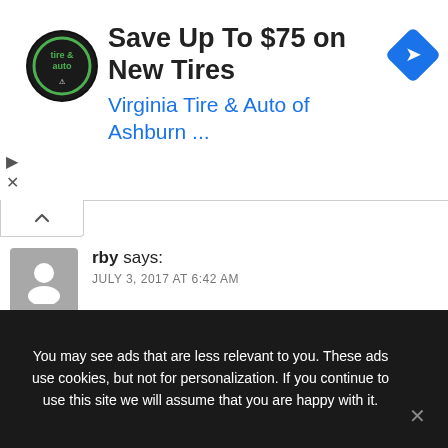[Figure (screenshot): Advertisement banner: Save Up To $75 on New Tires - Virginia Tire & Auto of Ashburn logo and navigation arrow icon]
rby says:
JULY 3, 2017 AT 6:42 AM
I DONT WANNA VERIFY MYSELF EVERYTIME
↩ REPLY
ar says:
You may see ads that are less relevant to you. These ads use cookies, but not for personalization. If you continue to use this site we will assume that you are happy with it.